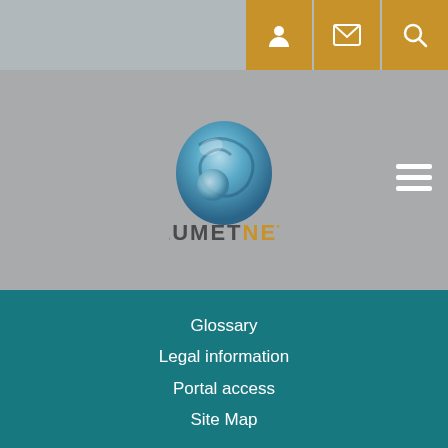[Figure (logo): EUMETNET logo with blue swirl spiral graphic above the text EUMET in dark gray and NET in orange/gold]
Glossary
Legal information
Portal access
Site Map
GET IN TOUCH
GIE EUMETNET Secretariat c/o L'Institut Royal Météorologique
Avenue Circulaire 3
1180 Bruxelles, Belgique